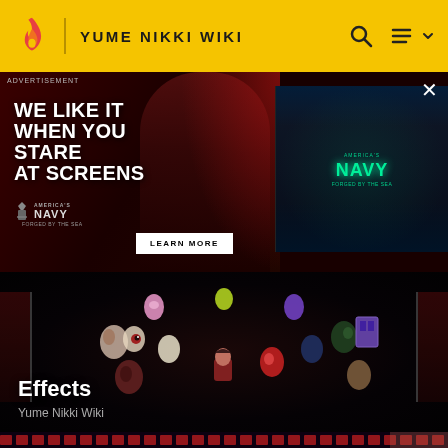YUME NIKKI WIKI
[Figure (screenshot): Advertisement banner: America's Navy 'Forged by the Sea' ad. Left side shows a person with glasses lit in red, with text 'WE LIKE IT WHEN YOU STARE AT SCREENS' and Navy logo. Right side shows a stage display with glowing teal 'NAVY FORGED BY THE SEA' text. A 'LEARN MORE' button is shown.]
[Figure (screenshot): Game screenshot from Yume Nikki showing a dark room with colorful egg-like objects arranged in a circle around a small character sprite. Red lantern-like structures visible on the sides. Caption reads 'Effects' and 'Yume Nikki Wiki'.]
Effects
Yume Nikki Wiki
[Figure (screenshot): Bottom strip showing another game screenshot with dark background and decorative red patterns.]